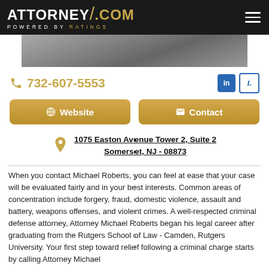ATTORNEY/.COM POWERED BY RATINGS
[Figure (photo): Partial photo of a person in dark clothing, grayscale]
☎ 732-607-5553
in L (LinkedIn and Lawyers.com social icons)
🌐 Website   ✉ Contact
1075 Easton Avenue Tower 2, Suite 2
Somerset, NJ - 08873
When you contact Michael Roberts, you can feel at ease that your case will be evaluated fairly and in your best interests. Common areas of concentration include forgery, fraud, domestic violence, assault and battery, weapons offenses, and violent crimes. A well-respected criminal defense attorney, Attorney Michael Roberts began his legal career after graduating from the Rutgers School of Law - Camden, Rutgers University. Your first step toward relief following a criminal charge starts by calling Attorney Michael